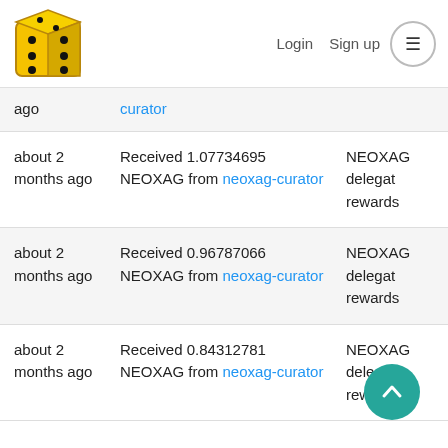[Figure (logo): Gold dice logo (cube with dots)]
Login   Sign up
| Time | Description | Memo |
| --- | --- | --- |
| about 2 months ago | Received [amount] NEOXAG from neoxag-curator | NEOXAG delegat rewards |
| about 2 months ago | Received 1.07734695 NEOXAG from neoxag-curator | NEOXAG delegat rewards |
| about 2 months ago | Received 0.96787066 NEOXAG from neoxag-curator | NEOXAG delegat rewards |
| about 2 months ago | Received 0.84312781 NEOXAG from neoxag-curator | NEOXAG delegat rewards |